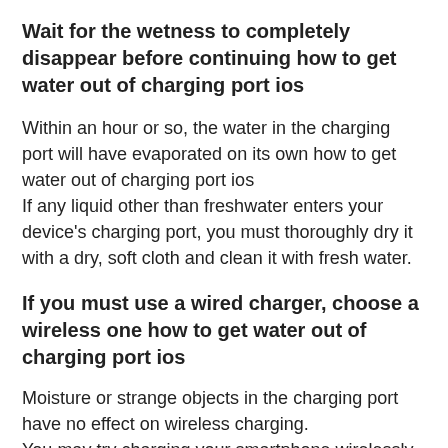Wait for the wetness to completely disappear before continuing how to get water out of charging port ios
Within an hour or so, the water in the charging port will have evaporated on its own how to get water out of charging port ios
If any liquid other than freshwater enters your device’s charging port, you must thoroughly dry it with a dry, soft cloth and clean it with fresh water.
If you must use a wired charger, choose a wireless one how to get water out of charging port ios
Moisture or strange objects in the charging port have no effect on wireless charging.
You may try charging your smartphone wirelessly if it supports it.
Before using the wireless charger, make sure the